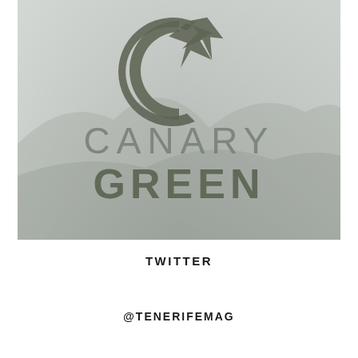[Figure (logo): Canary Green brand logo on a light grey/misty background. The logo consists of a stylized letter C with an arrow/cursor element in dark olive-green at the top, and below it the text 'CANARY GREEN' in large capital letters with a grey and dark green color treatment.]
TWITTER
@TENERIFEMAG